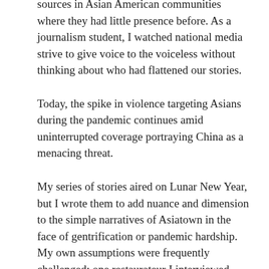of six Asian spa workers in Atlanta, media outlets across the country raced to find sources in Asian American communities where they had little presence before. As a journalism student, I watched national media strive to give voice to the voiceless without thinking about who had flattened our stories.
Today, the spike in violence targeting Asians during the pandemic continues amid uninterrupted coverage portraying China as a menacing threat.
My series of stories aired on Lunar New Year, but I wrote them to add nuance and dimension to the simple narratives of Asiatown in the face of gentrification or pandemic hardship. My own assumptions were frequently challenged; one restaurateur I interviewed disagreed that authenticity could only come from serving traditional dishes — flavor profile is key, she said. Another pointed out that Asiatown no longer only suffers, except for the constant fear of anti-